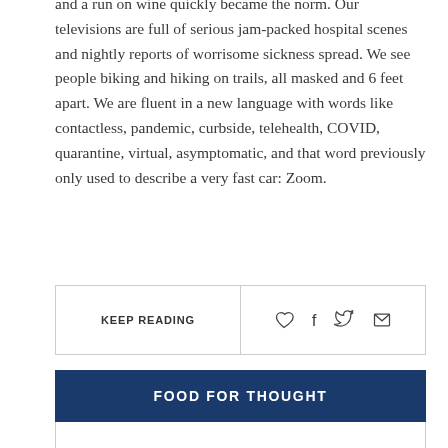and a run on wine quickly became the norm. Our televisions are full of serious jam-packed hospital scenes and nightly reports of worrisome sickness spread. We see people biking and hiking on trails, all masked and 6 feet apart. We are fluent in a new language with words like contactless, pandemic, curbside, telehealth, COVID, quarantine, virtual, asymptomatic, and that word previously only used to describe a very fast car: Zoom.
| KEEP READING | ♡  f  🐦  ✉ |
FOOD FOR THOUGHT